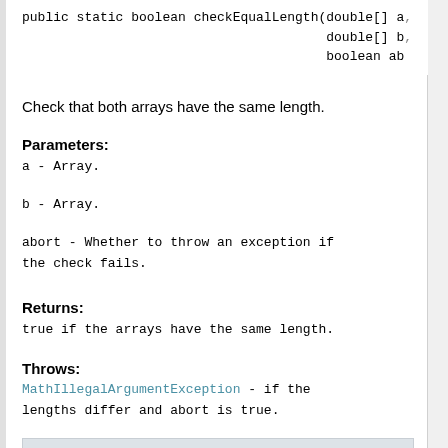public static boolean checkEqualLength(double[] a,
                                       double[] b,
                                       boolean ab
Check that both arrays have the same length.
Parameters:
a - Array.
b - Array.
abort - Whether to throw an exception if the check fails.
Returns:
true if the arrays have the same length.
Throws:
MathIllegalArgumentException - if the lengths differ and abort is true.
checkEqualLength
public static void checkEqualLength(double[] a